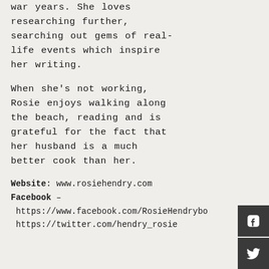war years. She loves researching further, searching out gems of real-life events which inspire her writing.
When she's not working, Rosie enjoys walking along the beach, reading and is grateful for the fact that her husband is a much better cook than her.
Website: www.rosiehendry.com
Facebook – https://www.facebook.com/RosieHendrybo
https://twitter.com/hendry_rosie
[Figure (other): Facebook icon button (dark grey square with white 'f' logo)]
[Figure (other): Twitter icon button (dark grey square with white bird logo)]